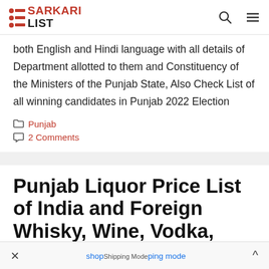SARKARI LIST
both English and Hindi language with all details of Department allotted to them and Constituency of the Ministers of the Punjab State, Also Check List of all winning candidates in Punjab 2022 Election
Punjab
2 Comments
Punjab Liquor Price List of India and Foreign Whisky, Wine, Vodka, Brandy, Beer